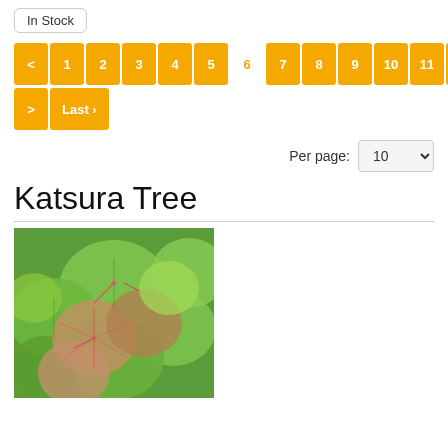In Stock
< 1 2 3 4 5 6 7 8 9 10 11 12 13 14 15 16 > Last »
Per page: 10
Katsura Tree
[Figure (photo): Close-up photo of Katsura Tree leaves — round heart-shaped leaves in green and reddish-pink tones with visible veins and thin red stems]